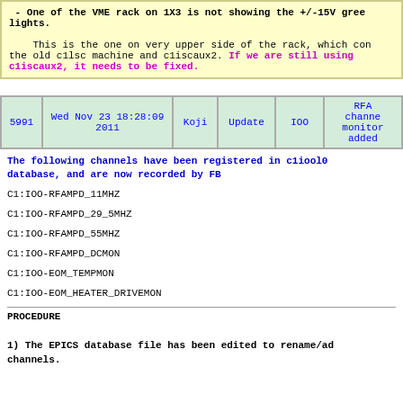- One of the VME rack on 1X3 is not showing the +/-15V green lights. This is the one on very upper side of the rack, which controls the old c1lsc machine and c1iscaux2. If we are still using c1iscaux2, it needs to be fixed.
| 5991 | Wed Nov 23 18:28:09 2011 | Koji | Update | IOO | RFA channel monitor added |
| --- | --- | --- | --- | --- | --- |
| 5991 | Wed Nov 23 18:28:09 2011 | Koji | Update | IOO | RFA channel monitor added |
The following channels have been registered in c1iool0 database, and are now recorded by FB
C1:IOO-RFAMPD_11MHZ
C1:IOO-RFAMPD_29_5MHZ
C1:IOO-RFAMPD_55MHZ
C1:IOO-RFAMPD_DCMON
C1:IOO-EOM_TEMPMON
C1:IOO-EOM_HEATER_DRIVEMON
PROCEDURE
1) The EPICS database file has been edited to rename/add channels.